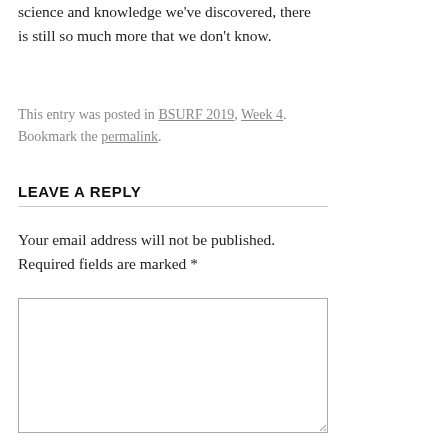science and knowledge we've discovered, there is still so much more that we don't know.
This entry was posted in BSURF 2019, Week 4. Bookmark the permalink.
LEAVE A REPLY
Your email address will not be published. Required fields are marked *
[Figure (other): Empty text area input box for comment form]